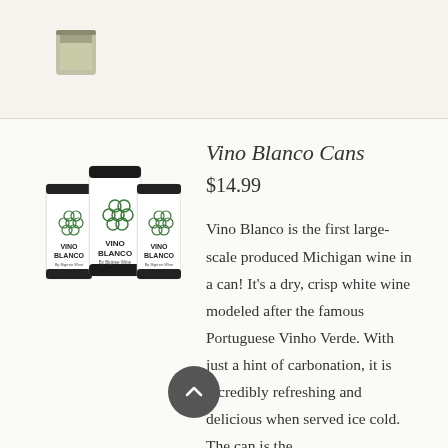[Figure (photo): Partial view of a product (can/bottle) at top of page, beige background]
[Figure (photo): Three Vino Blanco white wine cans grouped together, showing grape cluster logo and VINO BLANCO label]
Vino Blanco Cans
$14.99
Vino Blanco is the first large-scale produced Michigan wine in a can! It's a dry, crisp white wine modeled after the famous Portuguese Vinho Verde. With just a hint of carbonation, it is incredibly refreshing and delicious when served ice cold. The can is the